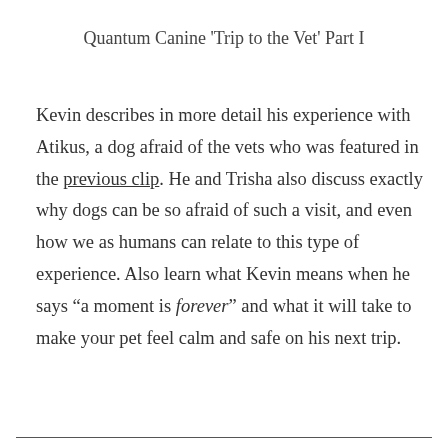Quantum Canine 'Trip to the Vet' Part I
Kevin describes in more detail his experience with Atikus, a dog afraid of the vets who was featured in the previous clip. He and Trisha also discuss exactly why dogs can be so afraid of such a visit, and even how we as humans can relate to this type of experience. Also learn what Kevin means when he says “a moment is forever” and what it will take to make your pet feel calm and safe on his next trip.